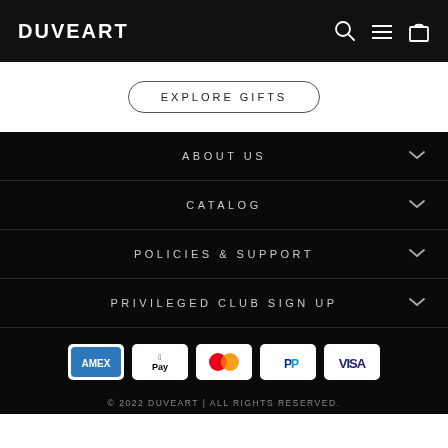DUVEART
EXPLORE GIFTS
ABOUT US
CATALOG
POLICIES & SUPPORT
PRIVILEGED CLUB SIGN UP
[Figure (other): Payment method icons: American Express, Apple Pay, Mastercard, PayPal, Visa]
© 2022 DUVEART | ALL RIGHTS RESERVED.